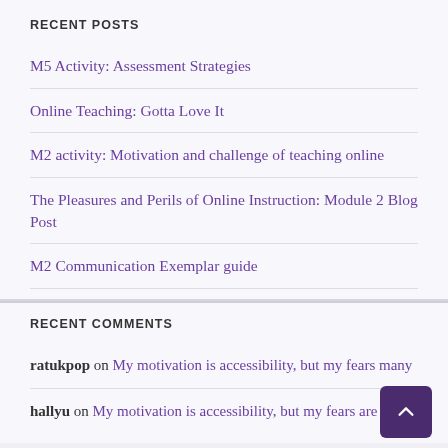RECENT POSTS
M5 Activity: Assessment Strategies
Online Teaching: Gotta Love It
M2 activity: Motivation and challenge of teaching online
The Pleasures and Perils of Online Instruction: Module 2 Blog Post
M2 Communication Exemplar guide
RECENT COMMENTS
ratukpop on My motivation is accessibility, but my fears many
hallyu on My motivation is accessibility, but my fears are many